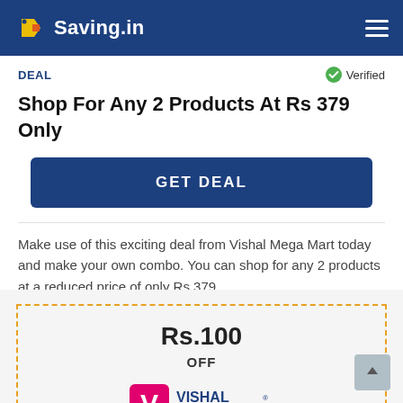Saving.in
DEAL
Verified
Shop For Any 2 Products At Rs 379 Only
GET DEAL
Make use of this exciting deal from Vishal Mega Mart today and make your own combo. You can shop for any 2 products at a reduced price of only Rs 379
Rs.100
OFF
[Figure (logo): Vishal Mega Mart logo — pink V mark with blue text VISHAL and red text MEGA MART]